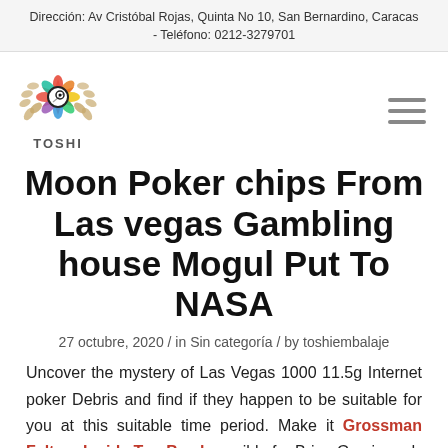Dirección: Av Cristóbal Rojas, Quinta No 10, San Bernardino, Caracas - Teléfono: 0212-3279701
[Figure (logo): TOSHI logo with colorful star/lens icon and laurel wreath]
Moon Poker chips From Las vegas Gambling house Mogul Put To NASA
27 octubre, 2020 / in Sin categoría / by toshiembalaje
Uncover the mystery of Las Vegas 1000 11.5g Internet poker Debris and find if they happen to be suitable for you at this suitable time period. Make it Grossman Falters Inside Top Bowl possible for Brian Garvin and